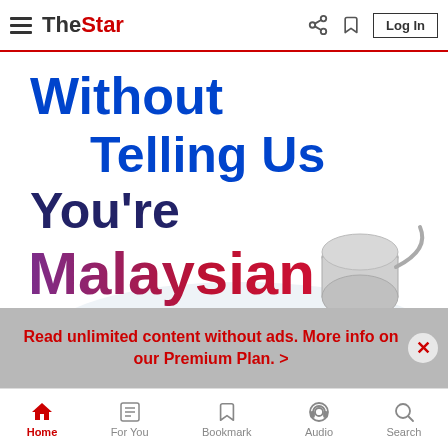The Star — Navigation bar with hamburger menu, logo, share, bookmark, and Log In button
[Figure (illustration): Promotional graphic with text 'Without Telling Us You're Malaysian' in blue and purple/red gradient, with an illustration of teh tarik being poured from a metal can into a glass]
Read unlimited content without ads.  More info on our Premium Plan.  >
Home | For You | Bookmark | Audio | Search